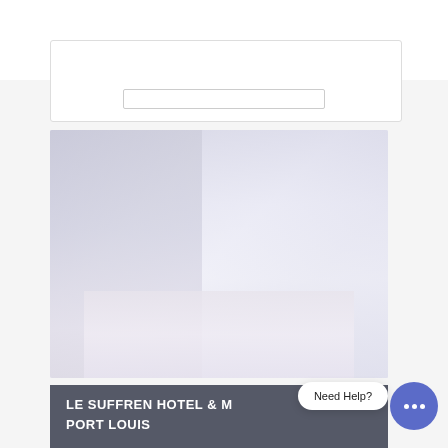[Figure (other): Rainbow colored stripe at the top of the page]
[Figure (photo): Washed-out photo of a hotel room interior, showing a bed, windows, and furnishings in light tones]
LE SUFFREN HOTEL & M...
PORT LOUIS
Need Help?